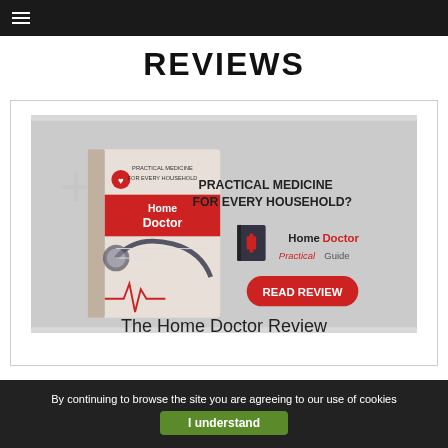REVIEWS
[Figure (illustration): Home Doctor book cover advertisement banner. Left side shows a book titled 'Home Doctor' with a red band, stethoscope and medical imagery. Right side shows text 'PRACTICAL MEDICINE FOR EVERY HOUSEHOLD?' with a Home Doctor Practical Guide logo and a red 'READ REVIEW' button.]
The Home Doctor Review
By continuing to browse the site you are agreeing to our use of cookies
I understand